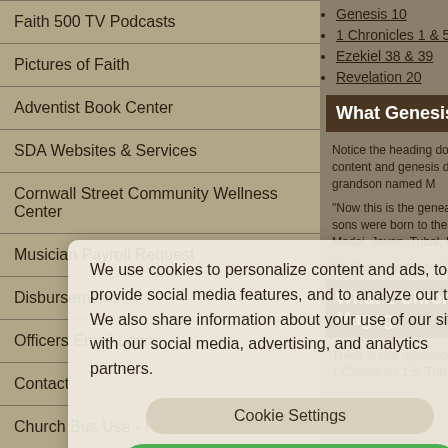Faith 500 TV Podcasts
Pictures of Faith
Adventist Book Center
SDA Websites & Services
Cornwall Street Community Wellness Center
Musician Payroll Request
Disbursements
Officers Email Login
Contact
Church Bus Use - Request Form
Genesis 10
1 Chronicles 1 & 5
Ezekiel 38 & 39
Revelation 20
What Genesis say
Notice the heading does not say... genesis doesn't... grandson named M...
"Now this is the genealogy of th... sons were born to them after the... Madai, Javan, Tubal, Meshech,...
So Magog was a real person, be...
What 1 Chronicles... Magog
There is one reference each to... 1 Chronicles 1:5. This verse me...
We use cookies to personalize content and ads, to provide social media features, and to analyze our traffic. We also share information about your use of our site with our social media, advertising, and analytics partners.
Cookie Settings
Accept All Cookies